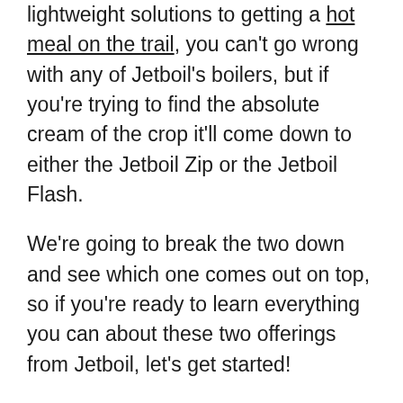lightweight solutions to getting a hot meal on the trail, you can't go wrong with any of Jetboil's boilers, but if you're trying to find the absolute cream of the crop it'll come down to either the Jetboil Zip or the Jetboil Flash.
We're going to break the two down and see which one comes out on top, so if you're ready to learn everything you can about these two offerings from Jetboil, let's get started!
In a hurry? Here's the test winner after 17 hours of research: